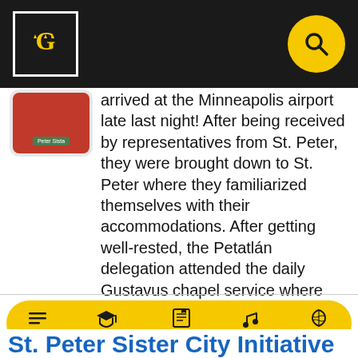Gustavus Adolphus College header with logo and search button
arrived at the Minneapolis airport late last night! After being received by representatives from St. Peter, they were brought down to St. Peter where they familiarized themselves with their accommodations. After getting well-rested, the Petatlán delegation attended the daily Gustavus chapel service where they were warmly welcomed by Chaplain Brian [...]
October 20, 2009  |  11:53 pm  |  by Chaz Brown
← OLDER
Section | Academics | Admission | Fine Arts | Athletics
St. Peter Sister City Initiative